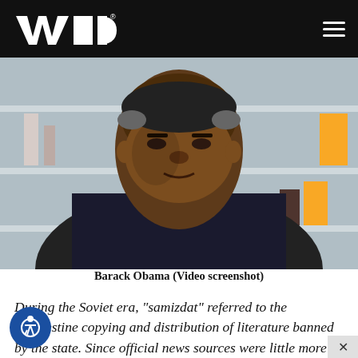WND
[Figure (photo): Portrait photo of Barack Obama in a dark suit and blue shirt, against a background with white shelving and colorful objects.]
Barack Obama (Video screenshot)
During the Soviet era, “samizdat” referred to the clandestine copying and distribution of literature banned by the state. Since official news sources were little more than communist government propaganda, samizdat was often the only source of truthful reporting. In